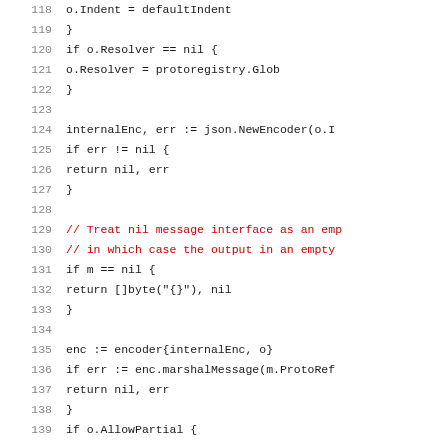Code listing lines 118-139, Go source code showing JSON encoder initialization with nil checks and marshal logic.